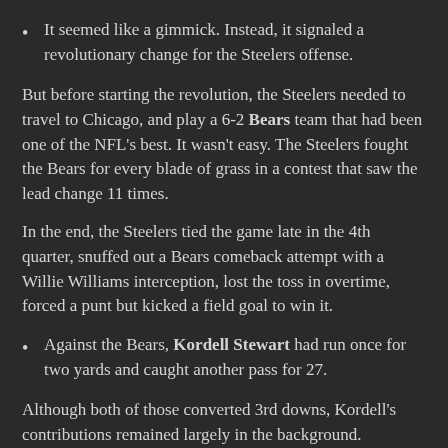It seemed like a gimmick. Instead, it signaled a revolutionary change for the Steelers offense.
But before starting the revolution, the Steelers needed to travel to Chicago, and play a 6-2 Bears team that had been one of the NFL's best. It wasn't easy. The Steelers fought the Bears for every blade of grass in a contest that saw the lead change 11 times.
In the end, the Steelers tied the game late in the 4th quarter, snuffed out a Bears comeback attempt with a Willie Williams interception, lost the toss in overtime, forced a punt but kicked a field goal to win it.
Against the Bears, Kordell Stewart had run once for two yards and caught another pass for 27.
Although both of those converted 3rd downs, Kordell's contributions remained largely in the background.